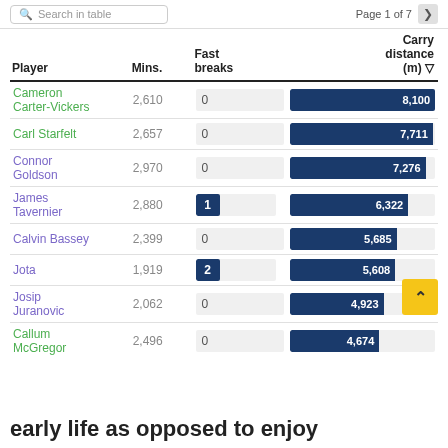Search in table   Page 1 of 7
| Player | Mins. | Fast breaks | Carry distance (m) |
| --- | --- | --- | --- |
| Cameron Carter-Vickers | 2,610 | 0 | 8,100 |
| Carl Starfelt | 2,657 | 0 | 7,711 |
| Connor Goldson | 2,970 | 0 | 7,276 |
| James Tavernier | 2,880 | 1 | 6,322 |
| Calvin Bassey | 2,399 | 0 | 5,685 |
| Jota | 1,919 | 2 | 5,608 |
| Josip Juranovic | 2,062 | 0 | 4,923 |
| Callum McGregor | 2,496 | 0 | 4,674 |
early life as opposed to enjoy